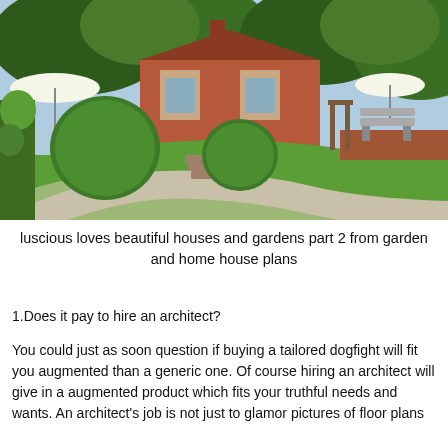[Figure (photo): Photograph of a lush English garden with manicured round topiary bushes, a curved gravel path with brick steps, a wide green lawn, garden benches along a brick wall, and a red-brick house surrounded by tall trees in the background.]
luscious loves beautiful houses and gardens part 2 from garden and home house plans
1.Does it pay to hire an architect?
You could just as soon question if buying a tailored dogfight will fit you augmented than a generic one. Of course hiring an architect will give in a augmented product which fits your truthful needs and wants. An architect's job is not just to glamor pictures of floor plans